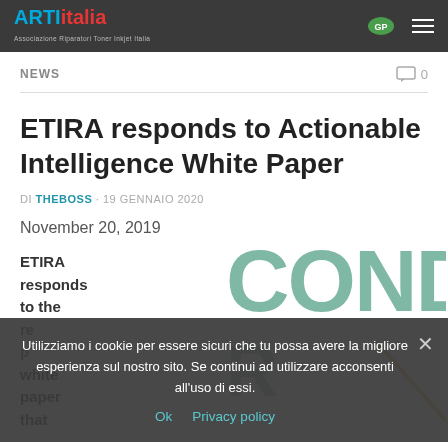ARTItalia — Associazione Riparatori Toner Inkjet Italia
NEWS
ETIRA responds to Actionable Intelligence White Paper
DI THEBOSS · 19 GENNAIO 2020
November 20, 2019
ETIRA responds to the re... p... white paper that
Utilizziamo i cookie per essere sicuri che tu possa avere la migliore esperienza sul nostro sito. Se continui ad utilizzare acconsenti all'uso di essi. Ok  Privacy policy